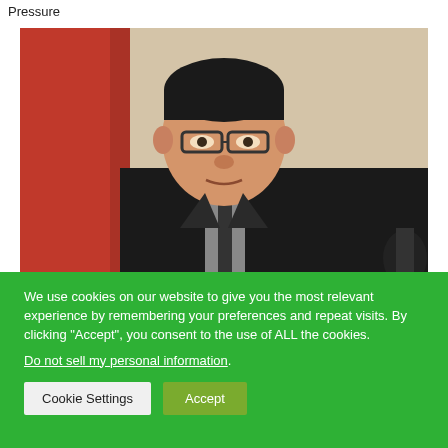Pressure
[Figure (photo): A man in a dark suit and glasses at what appears to be a press conference or official event, with a red flag or banner visible in the background.]
We use cookies on our website to give you the most relevant experience by remembering your preferences and repeat visits. By clicking "Accept", you consent to the use of ALL the cookies.
Do not sell my personal information.
Cookie Settings  Accept